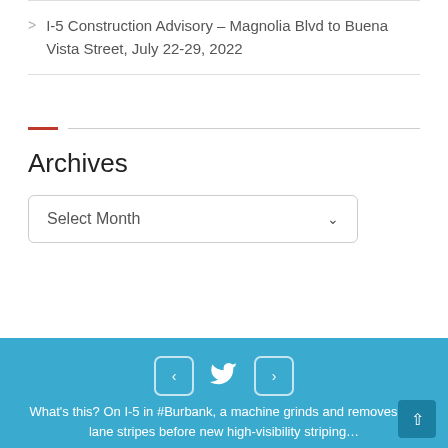I-5 Construction Advisory – Magnolia Blvd to Buena Vista Street, July 22-29, 2022
Archives
Select Month
What's this? On I-5 in #Burbank, a machine grinds and removes old lane stripes before new high-visibility striping...